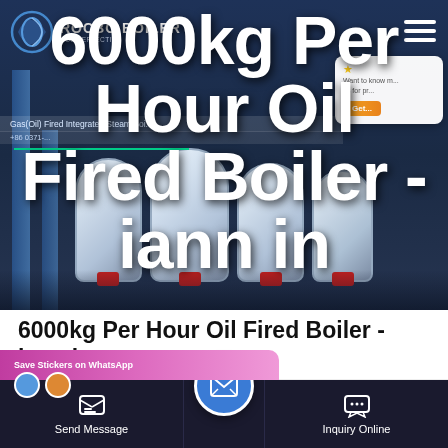[Figure (screenshot): Hero banner of Rocbo Boiler website showing 6000kg Per Hour Oil Fired Boiler product page with industrial boiler imagery background, company logo, navigation menu, and a star rating widget]
6000kg Per Hour Oil Fired Boiler - iann in
[Figure (screenshot): Bottom toolbar showing WhatsApp Save Stickers strip, Send Message button, email contact circle button, and Inquiry Online button on dark navy background]